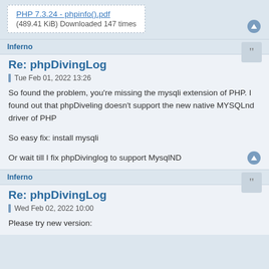[Figure (other): Attachment box with link: PHP 7.3.24 - phpinfo().pdf, (489.41 KiB) Downloaded 147 times]
Inferno
Re: phpDivingLog
Tue Feb 01, 2022 13:26
So found the problem, you're missing the mysqli extension of PHP. I found out that phpDiveling doesn't support the new native MYSQLnd driver of PHP
So easy fix: install mysqli
Or wait till I fix phpDivinglog to support MysqlND
Inferno
Re: phpDivingLog
Wed Feb 02, 2022 10:00
Please try new version: